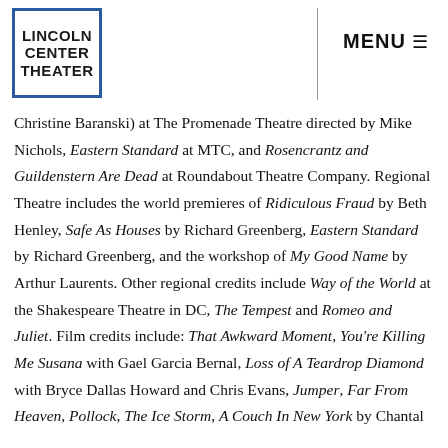LINCOLN CENTER THEATER | MENU
Christine Baranski) at The Promenade Theatre directed by Mike Nichols, Eastern Standard at MTC, and Rosencrantz and Guildenstern Are Dead at Roundabout Theatre Company. Regional Theatre includes the world premieres of Ridiculous Fraud by Beth Henley, Safe As Houses by Richard Greenberg, Eastern Standard by Richard Greenberg, and the workshop of My Good Name by Arthur Laurents. Other regional credits include Way of the World at the Shakespeare Theatre in DC, The Tempest and Romeo and Juliet. Film credits include: That Awkward Moment, You're Killing Me Susana with Gael Garcia Bernal, Loss of A Teardrop Diamond with Bryce Dallas Howard and Chris Evans, Jumper, Far From Heaven, Pollock, The Ice Storm, A Couch In New York by Chantal Akerman with Juliette Binoche, Alfred Bloomingdale with Sandra...